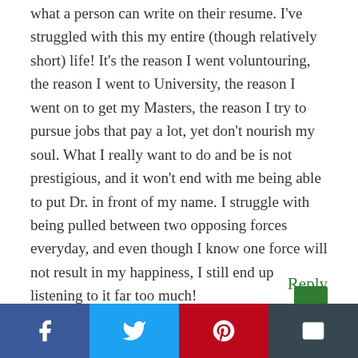what a person can write on their resume. I've struggled with this my entire (though relatively short) life! It's the reason I went voluntouring, the reason I went to University, the reason I went on to get my Masters, the reason I try to pursue jobs that pay a lot, yet don't nourish my soul. What I really want to do and be is not prestigious, and it won't end with me being able to put Dr. in front of my name. I struggle with being pulled between two opposing forces everyday, and even though I know one force will not result in my happiness, I still end up listening to it far too much!
Reply
[Figure (other): Social sharing bar with Facebook, Twitter, Pinterest, and Email buttons]